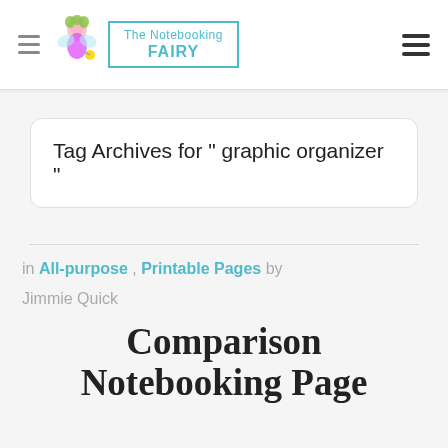The Notebooking FAIRY
Tag Archives for " graphic organizer "
in All-purpose , Printable Pages by Jimmie Quick
Comparison Notebooking Page